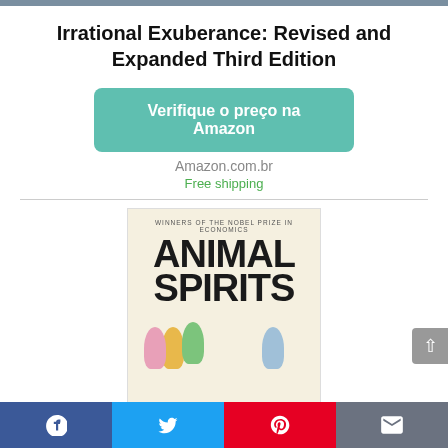[Figure (other): Top decorative bar strip in gray/blue color]
Irrational Exuberance: Revised and Expanded Third Edition
[Figure (other): Green teal button labeled 'Verifique o preço na Amazon']
Amazon.com.br
Free shipping
[Figure (illustration): Book cover for 'Animal Spirits: How Human Psychology Drives the Economy' by Winners of the Nobel Prize in Economics, showing colorful cartoon figures running across the bottom]
[Figure (other): Bottom social sharing bar with Facebook, Twitter, Pinterest, and Email icons]